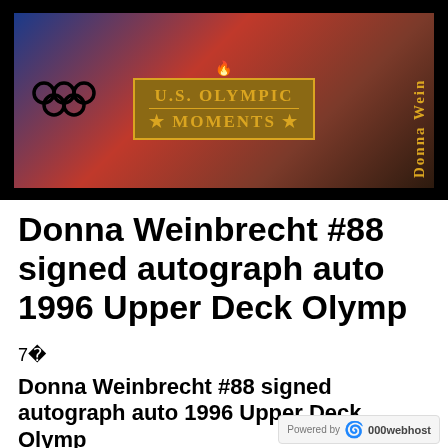[Figure (photo): A trading card showing U.S. Olympic Moments branding with Olympic rings on the left, gold text badge reading 'U.S. OLYMPIC MOMENTS' in the center, and 'Donna Wein' text vertically on the right side. Dark background with red and blue tones.]
Donna Weinbrecht #88 signed autograph auto 1996 Upper Deck Olymp
7￼
Donna Weinbrecht #88 signed autograph auto 1996 Upper Deck Olymp
Powered by 000webhost